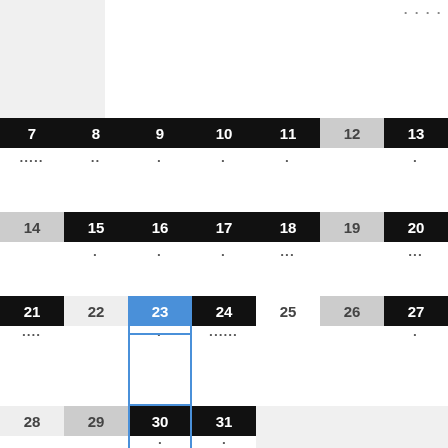[Figure (other): Monthly calendar view showing dates 7-31 with dots indicating events. Date 23 is highlighted in blue with a selection border. Dates 12, 14, 19, 22, 25, 26, 28, 29 appear in gray. Most other dates have black headers. Dots below dates indicate events.]
Free shipping on all orders over $49